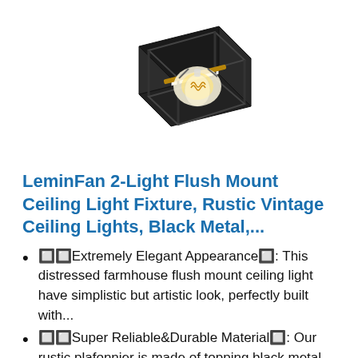[Figure (photo): Black metal square flush mount ceiling light fixture with visible Edison-style filament bulb inside a geometric cage frame, shown at an angle against white background.]
LeminFan 2-Light Flush Mount Ceiling Light Fixture, Rustic Vintage Ceiling Lights, Black Metal,...
🔲🔲Extremely Elegant Appearance🔲: This distressed farmhouse flush mount ceiling light have simplistic but artistic look, perfectly built with...
🔲🔲Super Reliable&Durable Material🔲: Our rustic plafonnier is made of topping black metal with well-made skill, never need to worry about...